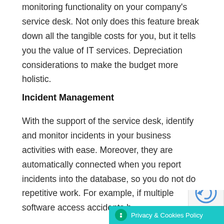monitoring functionality on your company's service desk. Not only does this feature break down all the tangible costs for you, but it tells you the value of IT services. Depreciation considerations to make the budget more holistic.
Incident Management
With the support of the service desk, identify and monitor incidents in your business activities with ease. Moreover, they are automatically connected when you report incidents into the database, so you do not do repetitive work. For example, if multiple software access accidents h...